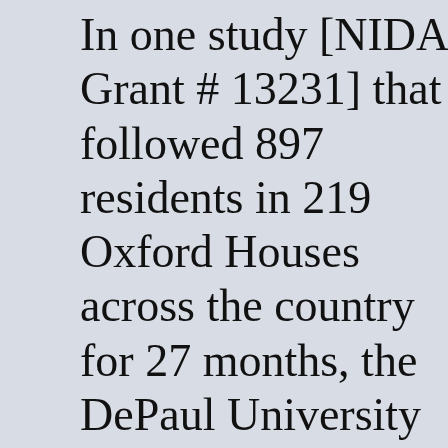In one study [NIDA Grant # 13231] that followed 897 residents in 219 Oxford Houses across the country for 27 months, the DePaul University research team found that only 13% relapsed. A peer-reviewed published report of that study in Addictive Behaviors 32 (2007) can be downloaded from the website under "Publications/Evaluations/D...